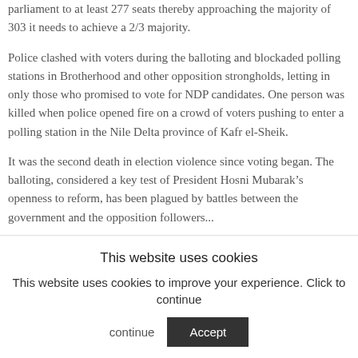parliament to at least 277 seats thereby approaching the majority of 303 it needs to achieve a 2/3 majority.
Police clashed with voters during the balloting and blockaded polling stations in Brotherhood and other opposition strongholds, letting in only those who promised to vote for NDP candidates. One person was killed when police opened fire on a crowd of voters pushing to enter a polling station in the Nile Delta province of Kafr el-Sheik.
It was the second death in election violence since voting began. The balloting, considered a key test of President Hosni Mubarak’s openness to reform, has been plagued by battles between the government and the opposition followers...
This website uses cookies
This website uses cookies to improve your experience. Click to continue
Accept